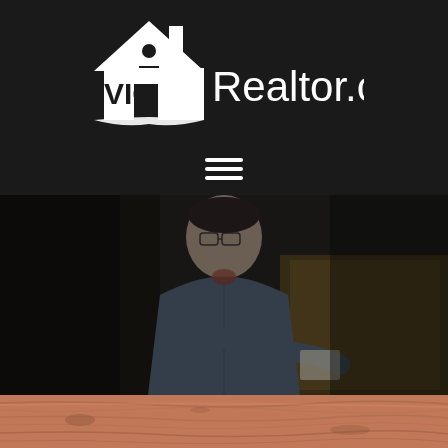[Figure (logo): VIC Realtor.com logo with house icon on dark background]
[Figure (photo): Young man with glasses wearing denim shirt, writing on clipboard, seated in dimly lit restaurant/bar setting with dark and golden honeycomb wall]
[Figure (photo): Close-up of wooden surface with reddish-orange grain texture at the bottom of the page]